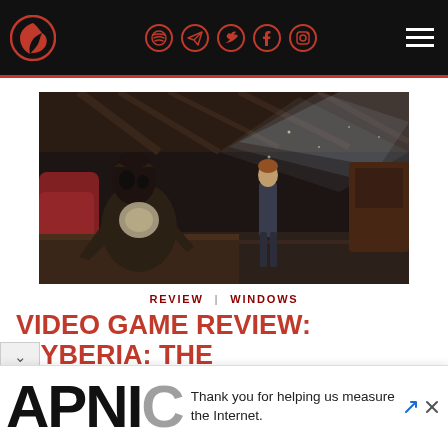Navigation header with logo and social media icons (Spotify, Telegram, Twitter, Facebook, Instagram) and hamburger menu
[Figure (screenshot): Video game screenshot from Syberia: The World Before showing a decayed automaton seated in a red chair in a ruined train station, with a human character standing in background amid dusty light rays]
REVIEW | WINDOWS
VIDEO GAME REVIEW: 'SYBERIA: THE WORLD BEFORE'
[Figure (advertisement): APNIC advertisement banner with text: Thank you for helping us measure the Internet.]